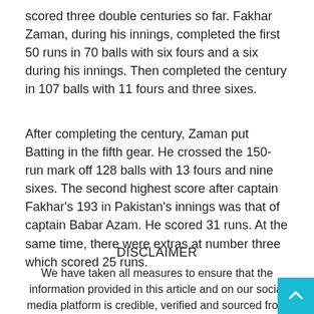scored three double centuries so far. Fakhar Zaman, during his innings, completed the first 50 runs in 70 balls with six fours and a six during his innings. Then completed the century in 107 balls with 11 fours and three sixes.
After completing the century, Zaman put Batting in the fifth gear. He crossed the 150-run mark off 128 balls with 13 fours and nine sixes. The second highest score after captain Fakhar's 193 in Pakistan's innings was that of captain Babar Azam. He scored 31 runs. At the same time, there were extras at number three which scored 25 runs.
DISCLAIMER
We have taken all measures to ensure that the information provided in this article and on our social media platform is credible, verified and sourced from other Big media Houses. For any feedback or complaint, reach out to us at